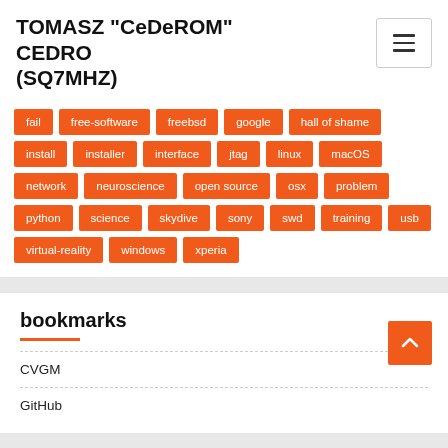TOMASZ "CeDeROM" CEDRO (SQ7MHZ)
fail
free-software
freebsd
google
hall of shame
install
installer
interface
jtag
linux
macOS
network
neuroscience
open source
osx
problem
python
science
skydive
sony
swd
training
usb
virtual-reality
windows
xperia
bookmarks
CVGM
GitHub